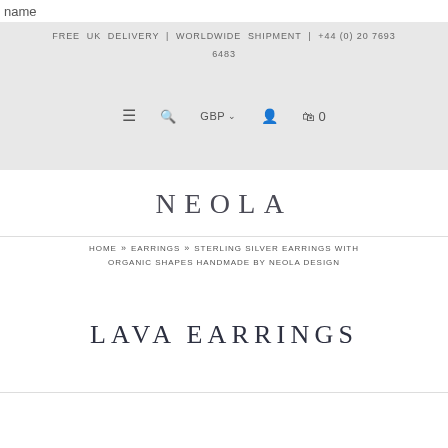name
FREE UK DELIVERY | WORLDWIDE SHIPMENT | +44 (0) 20 7693 6483
≡  🔍  GBP∨  👤  🛍 0
NEOLA
HOME » EARRINGS » STERLING SILVER EARRINGS WITH ORGANIC SHAPES HANDMADE BY NEOLA DESIGN
LAVA EARRINGS